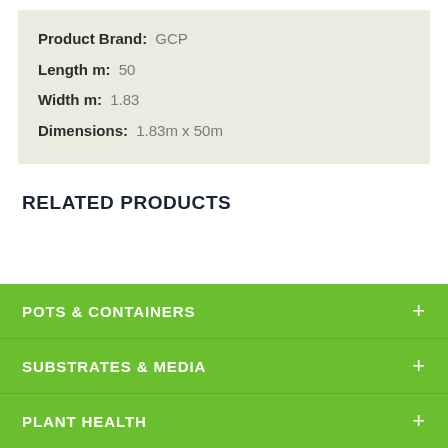Product Brand: GCP
Length m: 50
Width m: 1.83
Dimensions: 1.83m x 50m
RELATED PRODUCTS
POTS & CONTAINERS
SUBSTRATES & MEDIA
PLANT HEALTH